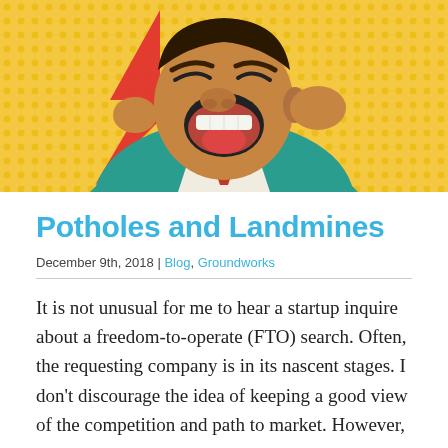[Figure (illustration): Pop-art style comic illustration of a man in a teal suit yelling or shouting with mouth wide open, red lightning bolt in background, yellow halftone dot pattern background]
Potholes and Landmines
December 9th, 2018 | Blog, Groundworks
It is not unusual for me to hear a startup inquire about a freedom-to-operate (FTO) search.  Often, the requesting company is in its nascent stages.   I don't discourage the idea of keeping a good view of the competition and path to market.  However, it is [...]